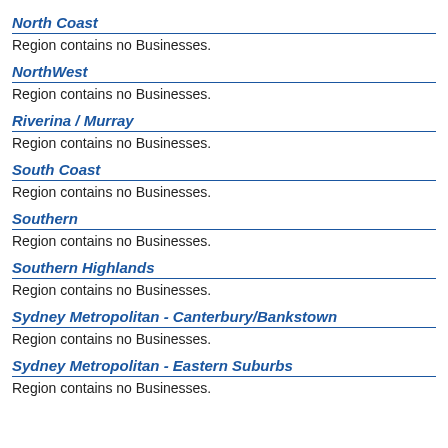North Coast
Region contains no Businesses.
NorthWest
Region contains no Businesses.
Riverina / Murray
Region contains no Businesses.
South Coast
Region contains no Businesses.
Southern
Region contains no Businesses.
Southern Highlands
Region contains no Businesses.
Sydney Metropolitan - Canterbury/Bankstown
Region contains no Businesses.
Sydney Metropolitan - Eastern Suburbs
Region contains no Businesses.